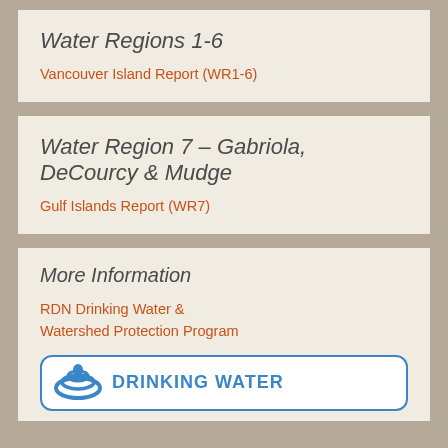Water Regions 1-6
Vancouver Island Report (WR1-6)
Water Region 7 – Gabriola, DeCourcy & Mudge
Gulf Islands Report (WR7)
More Information
RDN Drinking Water & Watershed Protection Program
[Figure (logo): Drinking Water logo with blue circular wave graphic and text 'DRINKING WATER']